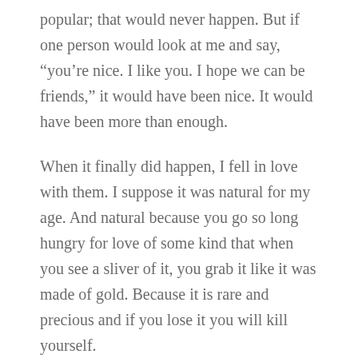popular; that would never happen. But if one person would look at me and say, “you’re nice. I like you. I hope we can be friends,” it would have been nice. It would have been more than enough.
When it finally did happen, I fell in love with them. I suppose it was natural for my age. And natural because you go so long hungry for love of some kind that when you see a sliver of it, you grab it like it was made of gold. Because it is rare and precious and if you lose it you will kill yourself.
Of course, it always ended up the same. They left. They got weirded out. They found other people. They went away to other schools, other countries and I went back to being that last unchosen kid for Games class.